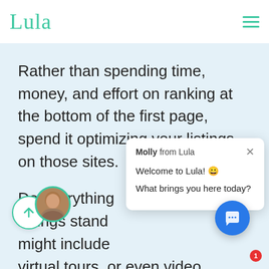Lula
Rather than spending time, money, and effort on ranking at the bottom of the first page, spend it optimizing your listings on those sites.
Do everything listings stand might include virtual tours, or even video.
[Figure (screenshot): Chat popup from Molly from Lula saying 'Welcome to Lula! 😀 What brings you here today?' with a close button]
With apartment search engine optimization, the old saying reigns true: